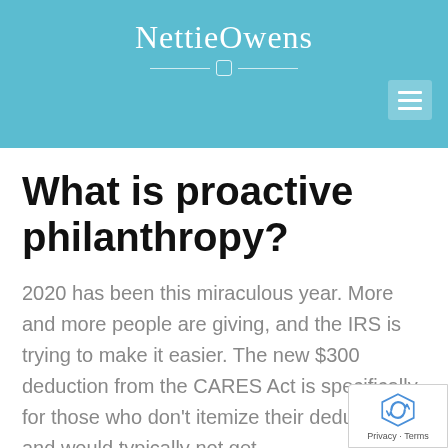NettieOwens
What is proactive philanthropy?
2020 has been this miraculous year. More and more people are giving, and the IRS is trying to make it easier. The new $300 deduction from the CARES Act is specifically for those who don't itemize their deductions and would typically not get